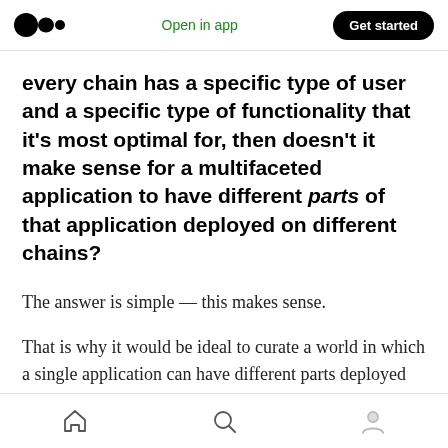Medium logo | Open in app | Get started
every chain has a specific type of user and a specific type of functionality that it's most optimal for, then doesn't it make sense for a multifaceted application to have different parts of that application deployed on different chains?
The answer is simple — this makes sense.
That is why it would be ideal to curate a world in which a single application can have different parts deployed on multiple chains where each of those parts are best supported. I refer to this as
Home | Search | Profile